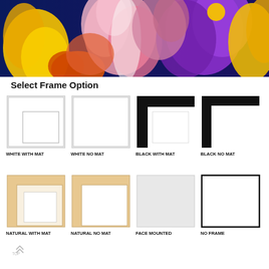[Figure (photo): Close-up photograph of colorful abstract/floral arrangement with yellow, pink, orange, and purple colors on dark blue background]
Select Frame Option
[Figure (illustration): White frame with mat option icon]
WHITE WITH MAT
[Figure (illustration): White frame no mat option icon]
WHITE NO MAT
[Figure (illustration): Black frame with mat option icon]
BLACK WITH MAT
[Figure (illustration): Black frame no mat option icon]
BLACK NO MAT
[Figure (illustration): Natural wood frame with mat option icon]
NATURAL WITH MAT
[Figure (illustration): Natural wood frame no mat option icon]
NATURAL NO MAT
[Figure (illustration): Face mounted option icon]
FACE MOUNTED
[Figure (illustration): No frame option icon]
NO FRAME
[Figure (illustration): Back to top arrow icon with text TOP]